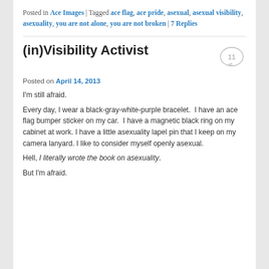Posted in Ace Images | Tagged ace flag, ace pride, asexual, asexual visibility, asexuality, you are not alone, you are not broken | 7 Replies
(in)Visibility Activist
Posted on April 14, 2013
I'm still afraid.
Every day, I wear a black-gray-white-purple bracelet.  I have an ace flag bumper sticker on my car.  I have a magnetic black ring on my cabinet at work. I have a little asexuality lapel pin that I keep on my camera lanyard. I like to consider myself openly asexual.
Hell, I literally wrote the book on asexuality.
But I'm afraid.